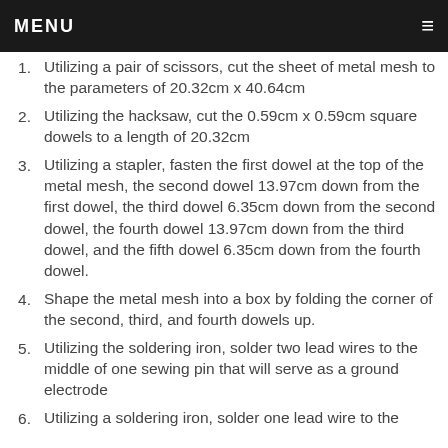MENU
Utilizing a pair of scissors, cut the sheet of metal mesh to the parameters of 20.32cm x 40.64cm
Utilizing the hacksaw, cut the 0.59cm x 0.59cm square dowels to a length of 20.32cm
Utilizing a stapler, fasten the first dowel at the top of the metal mesh, the second dowel 13.97cm down from the first dowel, the third dowel 6.35cm down from the second dowel, the fourth dowel 13.97cm down from the third dowel, and the fifth dowel 6.35cm down from the fourth dowel.
Shape the metal mesh into a box by folding the corner of the second, third, and fourth dowels up.
Utilizing the soldering iron, solder two lead wires to the middle of one sewing pin that will serve as a ground electrode
Utilizing a soldering iron, solder one lead wire to the